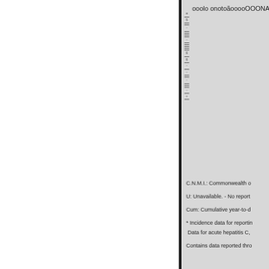ooolo onotoãooooOOONA
C.N.M.I.: Commonwealth o
U: Unavailable. - No report
Cum: Cumulative year-to-d
* Incidence data for reportin
Data for acute hepatitis C,
Contains data reported thro